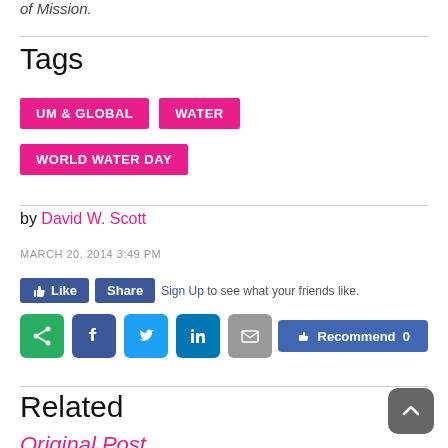of Mission.
Tags
UM & GLOBAL
WATER
WORLD WATER DAY
by David W. Scott
MARCH 20, 2014 3:49 PM
Like Share Sign Up to see what your friends like.
[Figure (infographic): Social sharing icons: green share, Facebook, Twitter, LinkedIn, email, and Facebook Recommend 0 button]
Related
Original Post...